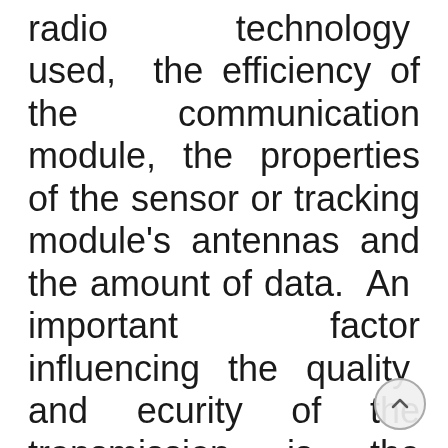radio technology used, the efficiency of the communication module, the properties of the sensor or tracking module's antennas and the amount of data. An important factor influencing the quality and ecurity of the transmission is the channel environment, with occlusion, visibility conditions and communication distance, as well as propagation on the cow's body, playing an important role, especially in